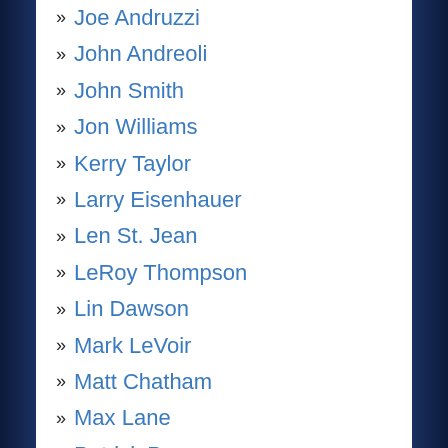» Joe Andruzzi
» John Andreoli
» John Smith
» Jon Williams
» Kerry Taylor
» Larry Eisenhauer
» Len St. Jean
» LeRoy Thompson
» Lin Dawson
» Mark LeVoir
» Matt Chatham
» Max Lane
» Patrick Pass
» Peter Brock